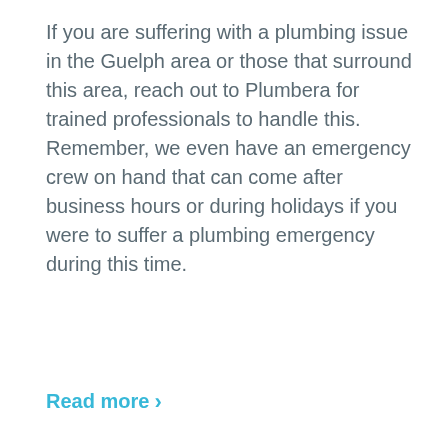If you are suffering with a plumbing issue in the Guelph area or those that surround this area, reach out to Plumbera for trained professionals to handle this. Remember, we even have an emergency crew on hand that can come after business hours or during holidays if you were to suffer a plumbing emergency during this time.
Read more >